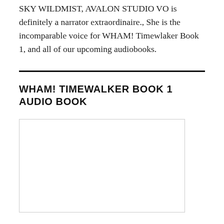SKY WILDMIST, AVALON STUDIO VO is definitely a narrator extraordinaire., She is the incomparable voice for WHAM! Timewlaker Book 1, and all of our upcoming audiobooks.
WHAM! TIMEWALKER BOOK 1 AUDIO BOOK
[Figure (other): White/blank image placeholder rectangle with light gray border]